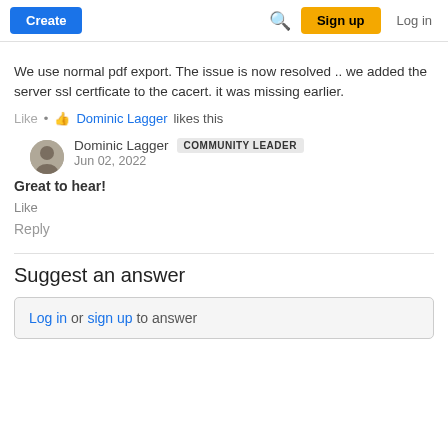Create | Search | Sign up | Log in
We use normal pdf export. The issue is now resolved .. we added the server ssl certficate to the cacert. it was missing earlier.
Like • Dominic Lagger likes this
Dominic Lagger COMMUNITY LEADER
Jun 02, 2022
Great to hear!
Like
Reply
Suggest an answer
Log in or sign up to answer